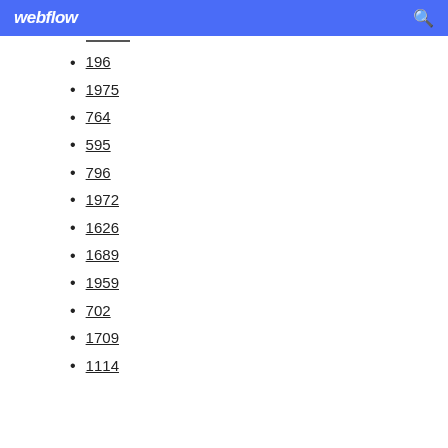webflow
196
1975
764
595
796
1972
1626
1689
1959
702
1709
1114